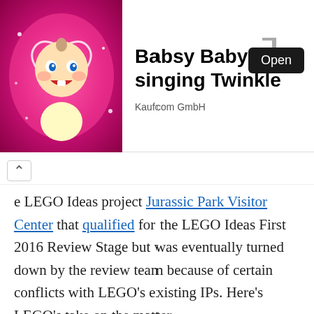[Figure (other): Advertisement banner showing a cartoon baby on pink background with text 'Babsy Baby singing Twinkle', Open button, and Kaufcom GmbH branding]
e LEGO Ideas project Jurassic Park Visitor Center that qualified for the LEGO Ideas First 2016 Review Stage but was eventually turned down by the review team because of certain conflicts with LEGO's existing IPs. Here's LEGO's take on the matter.
More noteworthy however, is the first step of this new Submit Flow – the Intellectual Property (IP) Question. As you know, LEGO Ideas welcomes submissions based on intellectual properties (designs copyrighted by someone else, i.e. movies, bands, real-world buildings, vehicles